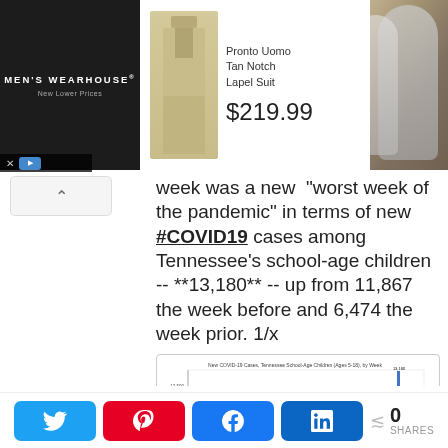[Figure (screenshot): Men's Wearhouse advertisement banner showing a tan notch lapel suit priced at $219.99 alongside a wedding photo]
week was a new "worst week of the pandemic" in terms of new #COVID19 cases among Tennessee's school-age children -- **13,180** -- up from 11,867 the week before and 6,474 the week prior. 1/x
[Figure (bar-chart): Bar chart showing weekly new COVID-19 cases among Tennessee school-age children, with a dramatic spike to 13,180 in the most recent week]
[Figure (screenshot): Social share bar with Twitter, Pinterest, Facebook, LinkedIn buttons and 0 shares count]